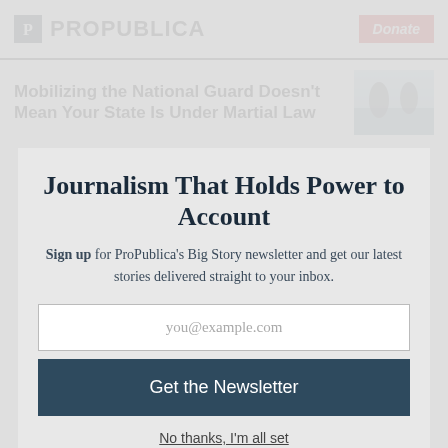ProPublica | Donate
Mobilizing the National Guard Doesn't Mean Your State Is Under Martial Law
Journalism That Holds Power to Account
Sign up for ProPublica's Big Story newsletter and get our latest stories delivered straight to your inbox.
you@example.com
Get the Newsletter
No thanks, I'm all set
This site is protected by reCAPTCHA and the Google Privacy Policy and Terms of Service apply.